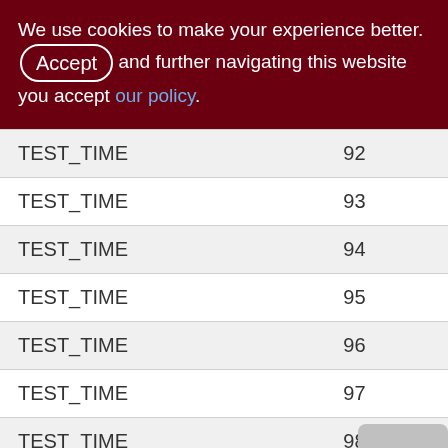We use cookies to make your experience better. By accepting and further navigating this website you accept our policy.
| TEST_TIME | 92 |
| TEST_TIME | 93 |
| TEST_TIME | 94 |
| TEST_TIME | 95 |
| TEST_TIME | 96 |
| TEST_TIME | 97 |
| TEST_TIME | 98 |
| TEST_TIME | 99 |